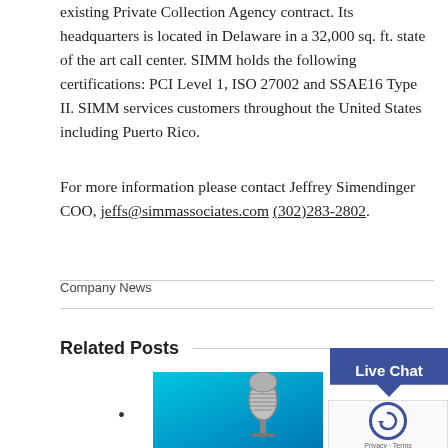existing Private Collection Agency contract. Its headquarters is located in Delaware in a 32,000 sq. ft. state of the art call center. SIMM holds the following certifications: PCI Level 1, ISO 27002 and SSAE16 Type II. SIMM services customers throughout the United States including Puerto Rico.
For more information please contact Jeffrey Simendinger COO, jeffs@simmassociates.com (302)283-2802.
Company News
Related Posts
[Figure (photo): A vintage microphone against a blue background]
[Figure (other): Live Chat button widget]
[Figure (other): reCAPTCHA widget with Privacy and Terms text]